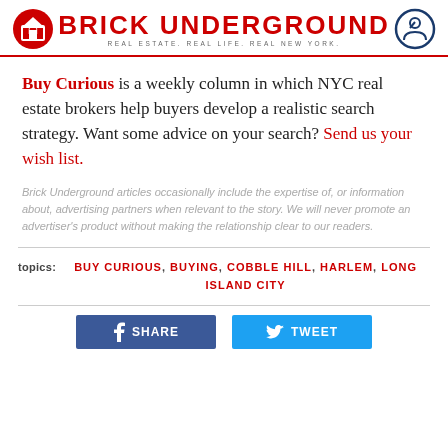BRICK UNDERGROUND — REAL ESTATE. REAL LIFE. REAL NEW YORK.
Buy Curious is a weekly column in which NYC real estate brokers help buyers develop a realistic search strategy. Want some advice on your search? Send us your wish list.
Brick Underground articles occasionally include the expertise of, or information about, advertising partners when relevant to the story. We will never promote an advertiser's product without making the relationship clear to our readers.
topics: BUY CURIOUS, BUYING, COBBLE HILL, HARLEM, LONG ISLAND CITY